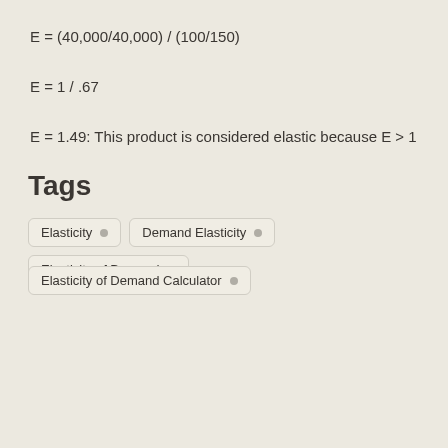E = 1.49: This product is considered elastic because E > 1
Tags
Elasticity
Demand Elasticity
Elasticity of Demand
Elasticity of Demand Calculator